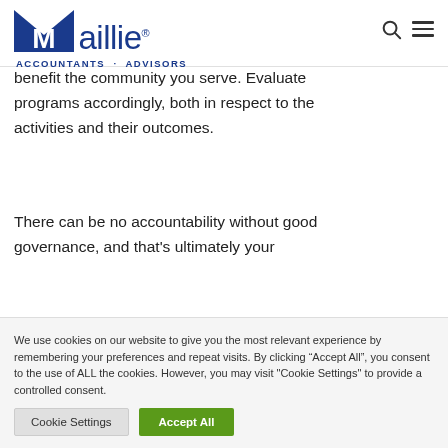Maillie Accountants + Advisors
means you're obligated to use your resources to support your mission and benefit the community you serve. Evaluate programs accordingly, both in respect to the activities and their outcomes.
There can be no accountability without good governance, and that’s ultimately your
We use cookies on our website to give you the most relevant experience by remembering your preferences and repeat visits. By clicking “Accept All”, you consent to the use of ALL the cookies. However, you may visit "Cookie Settings" to provide a controlled consent.